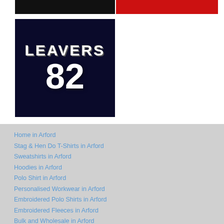[Figure (photo): Black rectangular banner/image at the top left]
[Figure (photo): Red rectangular banner/image at the top right]
[Figure (photo): Dark navy blue t-shirt showing 'LEAVERS' text and number '82' in white on the shirt]
Home in Arford
Stag & Hen Do T-Shirts in Arford
Sweatshirts in Arford
Hoodies in Arford
Polo Shirt in Arford
Personalised Workwear in Arford
Embroidered Polo Shirts in Arford
Embroidered Fleeces in Arford
Bulk and Wholesale in Arford